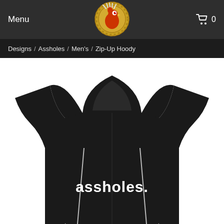Menu  [logo]  0
Designs / Assholes / Men's / Zip-Up Hoody
[Figure (photo): Back view of a black zip-up hoodie with the text 'assholes.' printed in white bold letters on the back, displayed on a white background.]